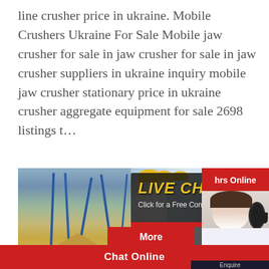line crusher price in ukraine. Mobile Crushers Ukraine For Sale Mobile jaw crusher for sale in jaw crusher for sale in jaw crusher suppliers in ukraine inquiry mobile jaw crusher stationary price in ukraine crusher aggregate equipment for sale 2698 listings t…
[Figure (screenshot): Screenshot of a mining/crushing equipment website showing a quarry/crusher facility background image with an overlaid live chat popup. The popup shows workers in yellow hard hats, text 'LIVE CHAT' in yellow italic, 'Click for a Free Consultation', 'Chat now' (red button) and 'Chat later' (dark button). Right side shows a customer service representative with headset. Bottom area has 'More', 'Online C...' buttons and a 'Need questions & suggestion? Chat Now' panel. Bottom red bar reads 'Chat Online'. Also shows '...hrs Online' red label in top right.]